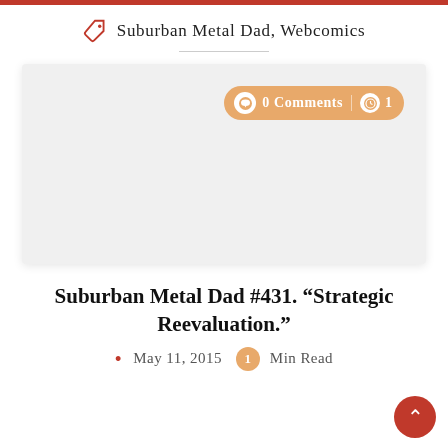Suburban Metal Dad, Webcomics
[Figure (screenshot): Light gray comic panel card with a comment badge showing '0 Comments' and a clock icon with '1', positioned in the upper right of the card.]
Suburban Metal Dad #431. “Strategic Reevaluation.”
May 11, 2015   1 Min Read